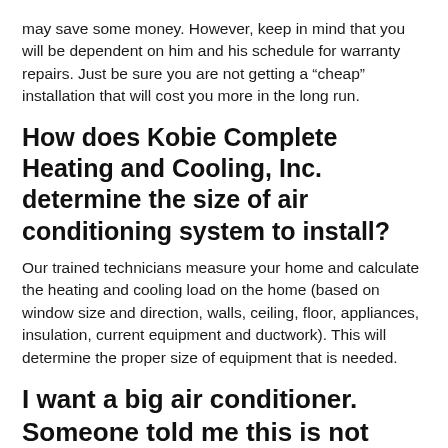may save some money. However, keep in mind that you will be dependent on him and his schedule for warranty repairs. Just be sure you are not getting a “cheap” installation that will cost you more in the long run.
How does Kobie Complete Heating and Cooling, Inc. determine the size of air conditioning system to install?
Our trained technicians measure your home and calculate the heating and cooling load on the home (based on window size and direction, walls, ceiling, floor, appliances, insulation, current equipment and ductwork). This will determine the proper size of equipment that is needed.
I want a big air conditioner. Someone told me this is not necessarily good. What are the advantages and disadvantages?
An air conditioner that is “oversized” will cool your home